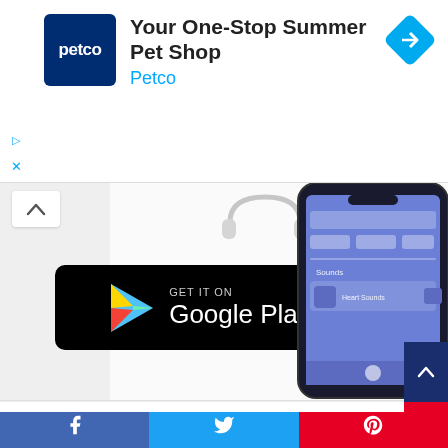[Figure (screenshot): Advertisement banner for Petco: 'Your One--Stop Summer Pet Shop' with Petco blue logo and navigation/directions icon]
[Figure (screenshot): App promotion area showing a 'GET IT ON Google Play' button on black background, with phone mockup showing app UI on the right, headphones visible top center, and chevron-up back button top left]
Categories
Anatomy
Cases
[Figure (screenshot): Social share bar with Facebook (blue), Twitter (light blue), and Pinterest (red) buttons at the bottom of the page]